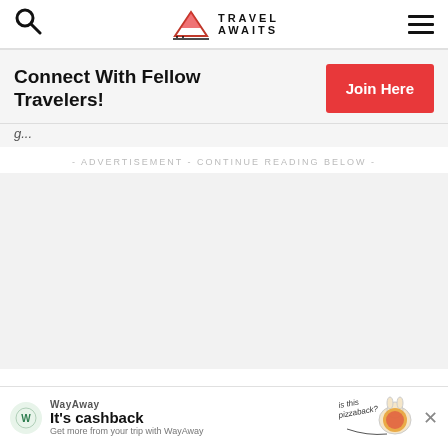Travel Awaits
Connect With Fellow Travelers!
Join Here
- ADVERTISEMENT - CONTINUE READING BELOW -
[Figure (screenshot): Large blank advertisement placeholder area]
WayAway It's cashback Get more from your trip with WayAway